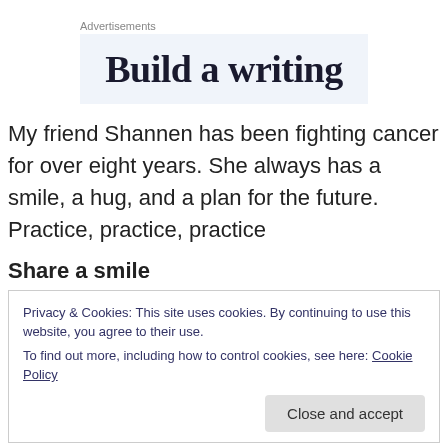Advertisements
[Figure (other): Advertisement banner showing text 'Build a writing' on a light blue background]
My friend Shannen has been fighting cancer for over eight years. She always has a smile, a hug, and a plan for the future. Practice, practice, practice
Share a smile
Privacy & Cookies: This site uses cookies. By continuing to use this website, you agree to their use.
To find out more, including how to control cookies, see here: Cookie Policy